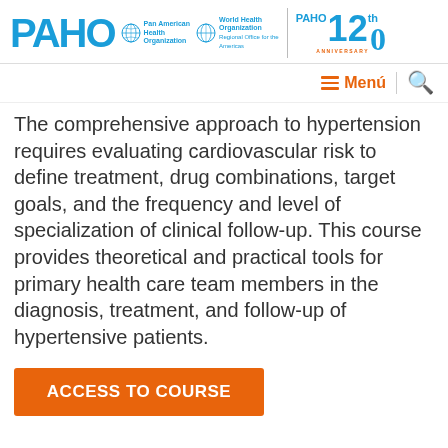PAHO | Pan American Health Organization | World Health Organization | Regional Office for the Americas | PAHO 120th Anniversary
The comprehensive approach to hypertension requires evaluating cardiovascular risk to define treatment, drug combinations, target goals, and the frequency and level of specialization of clinical follow-up. This course provides theoretical and practical tools for primary health care team members in the diagnosis, treatment, and follow-up of hypertensive patients.
ACCESS TO COURSE